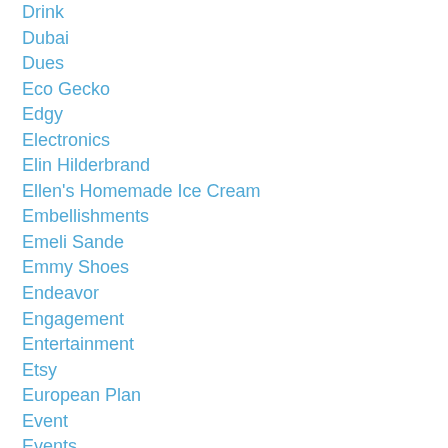Drink
Dubai
Dues
Eco Gecko
Edgy
Electronics
Elin Hilderbrand
Ellen's Homemade Ice Cream
Embellishments
Emeli Sande
Emmy Shoes
Endeavor
Engagement
Entertainment
Etsy
European Plan
Event
Events
Exclusive
Expedia
Fab.com